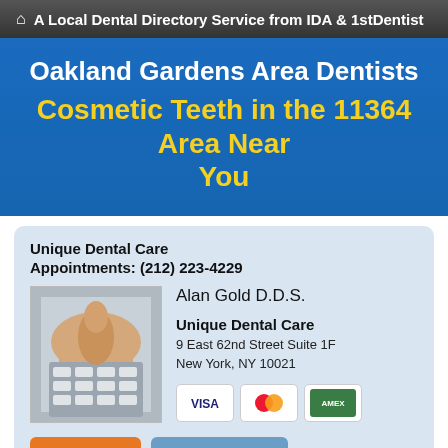A Local Dental Directory Service from IDA & 1stDentist
Oakland Gardens Area Dentists
Cosmetic Teeth in the 11364 Area Near You
Unique Dental Care
Appointments: (212) 223-4229
[Figure (photo): Hand pressing phone keypad buttons]
Alan Gold D.D.S.
Unique Dental Care
9 East 62nd Street Suite 1F
New York, NY 10021
[Figure (other): Payment card logos: Visa, MasterCard, American Express]
Make Appt   Meet Dr. Gold
more info ...